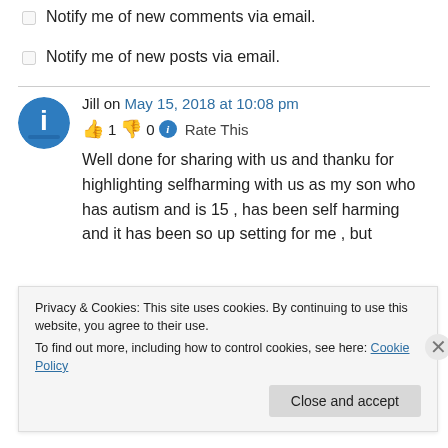Notify me of new comments via email.
Notify me of new posts via email.
Jill on May 15, 2018 at 10:08 pm
👍 1 👎 0 ℹ Rate This
Well done for sharing with us and thanku for highlighting selfharming with us as my son who has autism and is 15 , has been self harming and it has been so up setting for me , but
Privacy & Cookies: This site uses cookies. By continuing to use this website, you agree to their use.
To find out more, including how to control cookies, see here: Cookie Policy
Close and accept